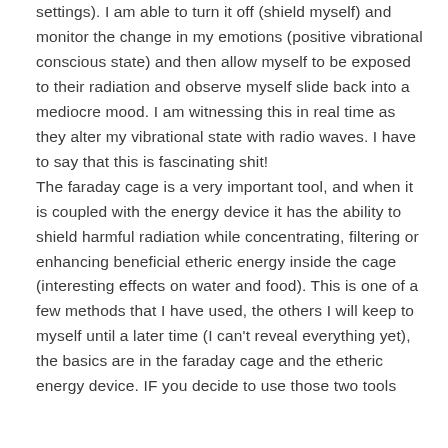settings). I am able to turn it off (shield myself) and monitor the change in my emotions (positive vibrational conscious state) and then allow myself to be exposed to their radiation and observe myself slide back into a mediocre mood. I am witnessing this in real time as they alter my vibrational state with radio waves. I have to say that this is fascinating shit! The faraday cage is a very important tool, and when it is coupled with the energy device it has the ability to shield harmful radiation while concentrating, filtering or enhancing beneficial etheric energy inside the cage (interesting effects on water and food). This is one of a few methods that I have used, the others I will keep to myself until a later time (I can't reveal everything yet), the basics are in the faraday cage and the etheric energy device. IF you decide to use those two tools